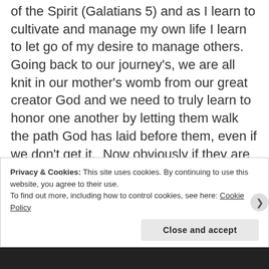of the Spirit (Galatians 5) and as I learn to cultivate and manage my own life I learn to let go of my desire to manage others.   Going back to our journey's, we are all knit in our mother's womb from our great creator God and we need to truly learn to honor one another by letting them walk the path God has laid before them, even if we don't get it.  Now obviously if they are in sin we may be able to assist them back on track, but only as God tells us to do so.  Living the Kingdom life means that I am secure in who I am as a child of God.  I deeply know that God is good, that He is for me and that His unconditional love is the only approval that I really
Privacy & Cookies: This site uses cookies. By continuing to use this website, you agree to their use.
To find out more, including how to control cookies, see here: Cookie Policy
Close and accept